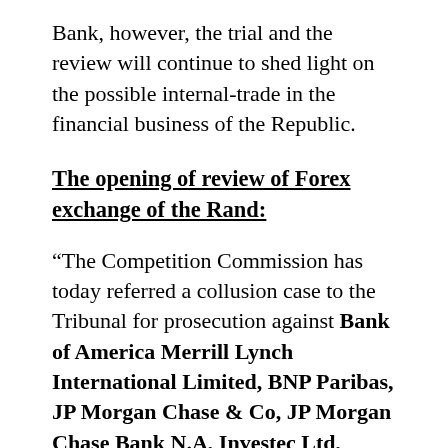Bank, however, the trial and the review will continue to shed light on the possible internal-trade in the financial business of the Republic.
The opening of review of Forex exchange of the Rand:
“The Competition Commission has today referred a collusion case to the Tribunal for prosecution against Bank of America Merrill Lynch International Limited, BNP Paribas, JP Morgan Chase & Co, JP Morgan Chase Bank N.A, Investec Ltd, Standard New York Securities Inc., HSBC Bank Plc, Standard Chartered Bank, Credit Suisse Group; Standard Bank of South Africa Ltd...